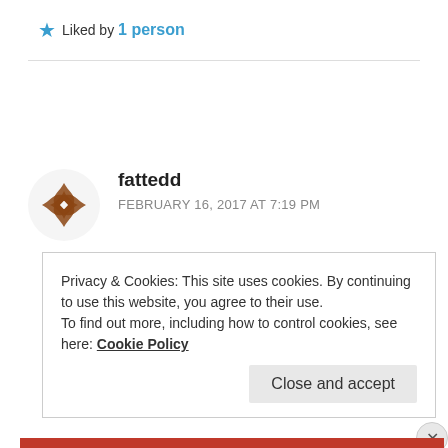★ Liked by 1 person
[Figure (illustration): Avatar icon for user fattedd - brown snowflake/star geometric shape]
fattedd
FEBRUARY 16, 2017 AT 7:19 PM
Privacy & Cookies: This site uses cookies. By continuing to use this website, you agree to their use.
To find out more, including how to control cookies, see here: Cookie Policy
Close and accept